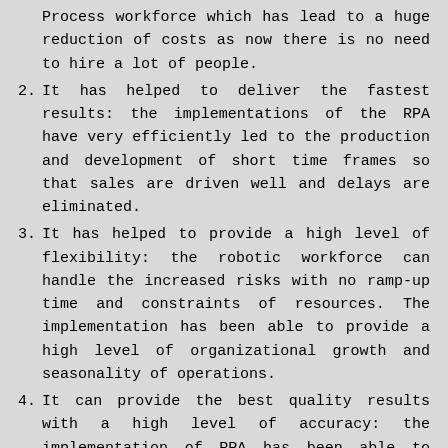Process workforce which has lead to a huge reduction of costs as now there is no need to hire a lot of people.
2. It has helped to deliver the fastest results: the implementations of the RPA have very efficiently led to the production and development of short time frames so that sales are driven well and delays are eliminated.
3. It has helped to provide a high level of flexibility: the robotic workforce can handle the increased risks with no ramp-up time and constraints of resources. The implementation has been able to provide a high level of organizational growth and seasonality of operations.
4. It can provide the best quality results with a high level of accuracy: the implementation of RPA has been able to reduce the operational risk and the performance has been considered consistent so that there is no deviation from the results and the business rules will be well defined. There will be a high level of accuracy and the system will be less prone to errors in the system of data entry.